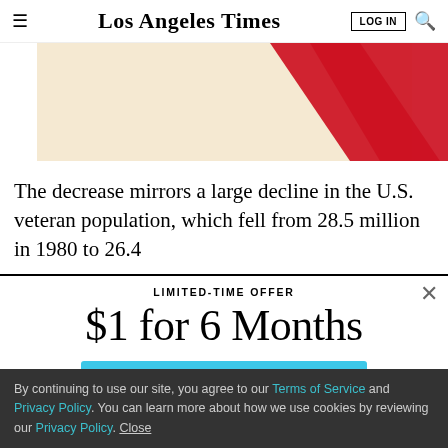Los Angeles Times
[Figure (illustration): Partial chart or graphic with beige background and red diagonal stripe, cropped at top]
The decrease mirrors a large decline in the U.S. veteran population, which fell from 28.5 million in 1980 to 26.4
LIMITED-TIME OFFER
$1 for 6 Months
SUBSCRIBE NOW
By continuing to use our site, you agree to our Terms of Service and Privacy Policy. You can learn more about how we use cookies by reviewing our Privacy Policy. Close